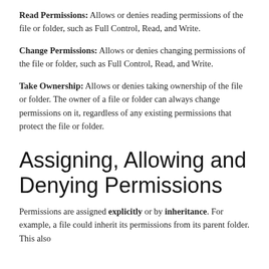Read Permissions: Allows or denies reading permissions of the file or folder, such as Full Control, Read, and Write.
Change Permissions: Allows or denies changing permissions of the file or folder, such as Full Control, Read, and Write.
Take Ownership: Allows or denies taking ownership of the file or folder. The owner of a file or folder can always change permissions on it, regardless of any existing permissions that protect the file or folder.
Assigning, Allowing and Denying Permissions
Permissions are assigned explicitly or by inheritance. For example, a file could inherit its permissions from its parent folder. This also